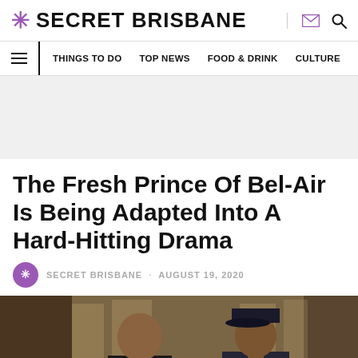SECRET BRISBANE
THINGS TO DO · TOP NEWS · FOOD & DRINK · CULTURE
The Fresh Prince Of Bel-Air Is Being Adapted Into A Hard-Hitting Drama
SECRET BRISBANE · AUGUST 19, 2020
[Figure (photo): Two men from The Fresh Prince of Bel-Air TV show, one bald older man in a suit and one younger man wearing a backwards cap, standing indoors in a grand room.]